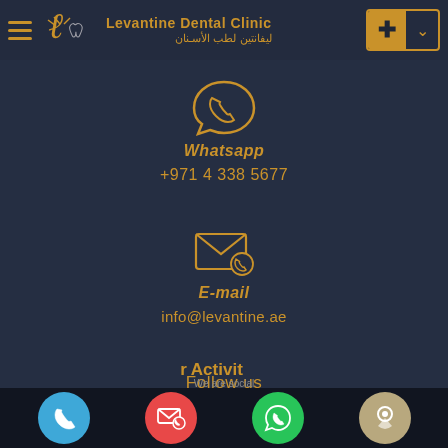[Figure (logo): Levantine Dental Clinic logo with Arabic text: ليفانتين لطب الأسنان]
[Figure (illustration): WhatsApp icon in gold outline style]
Whatsapp
+971 4 338 5677
[Figure (illustration): Email/envelope icon with phone badge in gold outline style]
E-mail
info@levantine.ae
Follow us
[Figure (infographic): Bottom navigation bar with four circle icon buttons: phone (blue), email (red), WhatsApp (green), location (tan). Partially visible text 'r Activit' and 'We are social']